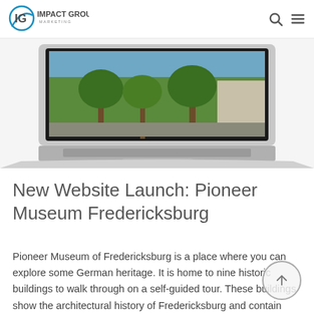IG Impact Group Marketing — navigation header with search and menu icons
[Figure (screenshot): Laptop computer displaying a website with an outdoor image (trees, yard, building) on its screen]
New Website Launch: Pioneer Museum Fredericksburg
Pioneer Museum of Fredericksburg is a place where you can explore some German heritage. It is home to nine historic buildings to walk through on a self-guided tour. These buildings show the architectural history of Fredericksburg and contain authentic artifacts displayed in each building. They offer children's programs, distance learning, school tours, adult programs, events, and virtual